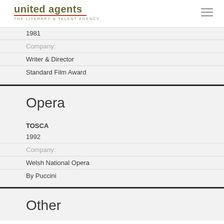united agents THE LITERARY & TALENT AGENCY
1981
Company:
Writer & Director
Standard Film Award
Opera
TOSCA
1992
Company:
Welsh National Opera
By Puccini
Other